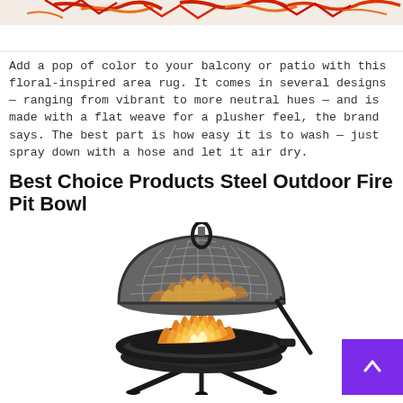[Figure (photo): Top portion of a colorful floral area rug with red, orange, and white patterns on a white background]
Add a pop of color to your balcony or patio with this floral-inspired area rug. It comes in several designs — ranging from vibrant to more neutral hues — and is made with a flat weave for a plusher feel, the brand says. The best part is how easy it is to wash — just spray down with a hose and let it air dry.
Best Choice Products Steel Outdoor Fire Pit Bowl
[Figure (photo): A black steel outdoor fire pit bowl with a mesh dome lid showing flames burning inside, with tripod legs and a poker tool, and a purple scroll-to-top button in the bottom right corner]